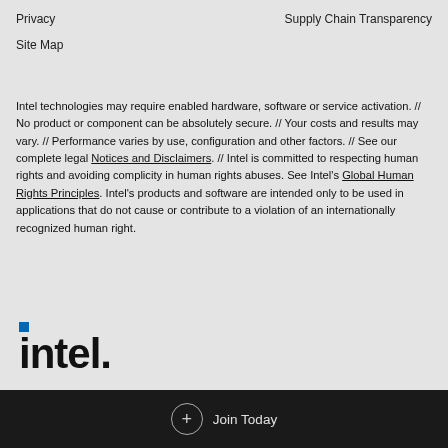Privacy    Supply Chain Transparency
Site Map
Intel technologies may require enabled hardware, software or service activation. // No product or component can be absolutely secure. // Your costs and results may vary. // Performance varies by use, configuration and other factors. // See our complete legal Notices and Disclaimers. // Intel is committed to respecting human rights and avoiding complicity in human rights abuses. See Intel's Global Human Rights Principles. Intel's products and software are intended only to be used in applications that do not cause or contribute to a violation of an internationally recognized human right.
[Figure (logo): Intel logo with blue square dot above the letter i, bold lowercase 'intel.' wordmark]
Join Today
Become a Partner